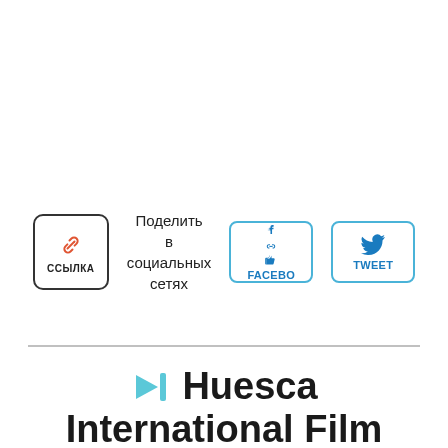[Figure (infographic): Share buttons row: a 'ССЫЛКА' (link) button with chain link icon in a rounded rectangle, a label 'Поделить в социальных сетях', a Facebook share button with thumbs up icon, and a Tweet button with Twitter bird icon]
Huesca International Film Festival...